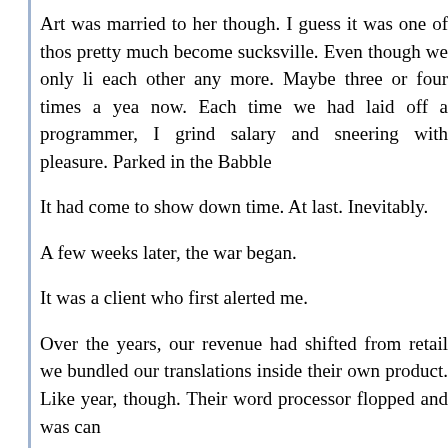Art was married to her though. I guess it was one of those pretty much become sucksville. Even though we only li each other any more. Maybe three or four times a year now. Each time we had laid off a programmer, I grin salary and sneering with pleasure. Parked in the Babble
It had come to show down time. At last. Inevitably.
A few weeks later, the war began.
It was a client who first alerted me.
Over the years, our revenue had shifted from retail we bundled our translations inside their own product. Like year, though. Their word processor flopped and was can
It had been an arrow to the future for us, though. We deals, they were called in the insider jargon speak. Orig was the Original and the Manufacturer. Their software whole emphasis had shifted from retail sales to OEM de
The client who alerted me was the lead engineer fro Babble's clients were with the engineering departments